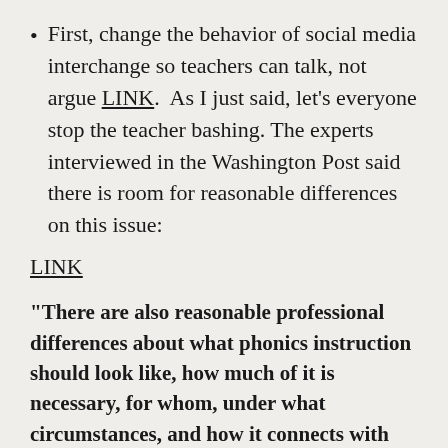First, change the behavior of social media interchange so teachers can talk, not argue LINK.  As I just said, let's everyone stop the teacher bashing. The experts interviewed in the Washington Post said there is room for reasonable differences on this issue:
LINK
“There are also reasonable professional differences about what phonics instruction should look like, how much of it is necessary, for whom, under what circumstances, and how it connects with other aspects of reading. But there is no justification for